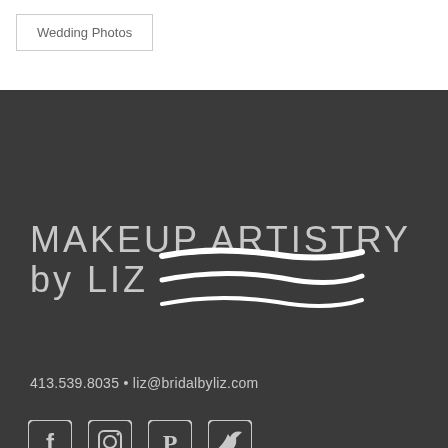Wedding Photos
[Figure (logo): Makeup Artistry by Liz logo with decorative brush stroke swashes on dark background]
413.539.8035 • liz@bridalbyliz.com
[Figure (infographic): Social media icons: Facebook, Instagram, Pinterest, Twitter]
[Figure (infographic): This Business Serves badge in red/coral color]